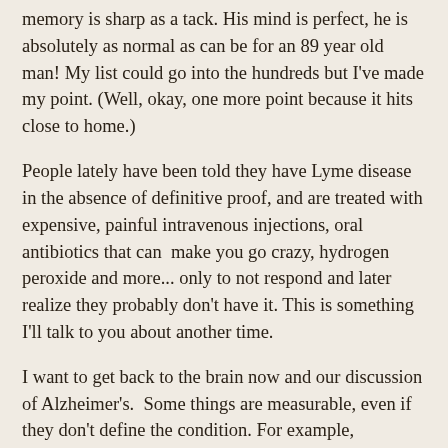memory is sharp as a tack. His mind is perfect, he is absolutely as normal as can be for an 89 year old man! My list could go into the hundreds but I've made my point. (Well, okay, one more point because it hits close to home.)
People lately have been told they have Lyme disease in the absence of definitive proof, and are treated with expensive, painful intravenous injections, oral antibiotics that can  make you go crazy, hydrogen peroxide and more... only to not respond and later realize they probably don't have it. This is something I'll talk to you about another time.
I want to get back to the brain now and our discussion of Alzheimer's.  Some things are measurable, even if they don't define the condition. For example, quinolinic acid. It's seen as QUIN in the scientific literature in case you do a search online.  I first told you about QUIN back in